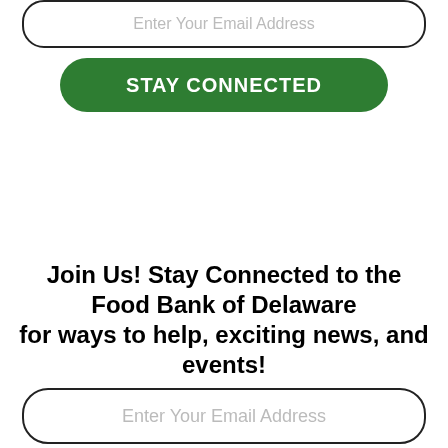Enter Your Email Address
STAY CONNECTED
Join Us! Stay Connected to the Food Bank of Delaware for ways to help, exciting news, and events!
Enter Your Email Address